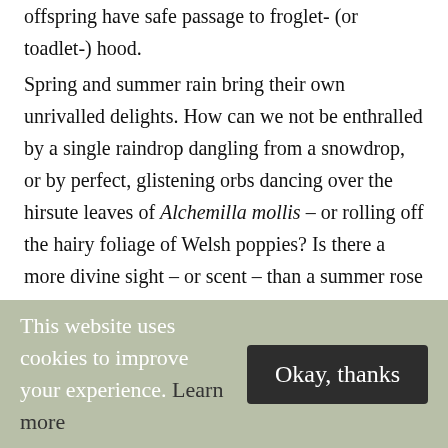offspring have safe passage to froglet- (or toadlet-) hood.
Spring and summer rain bring their own unrivalled delights. How can we not be enthralled by a single raindrop dangling from a snowdrop, or by perfect, glistening orbs dancing over the hirsute leaves of Alchemilla mollis – or rolling off the hairy foliage of Welsh poppies? Is there a more divine sight – or scent – than a summer rose following its caressing by warm, gentle-on-the-petals rain? Is anything more sensuous than a moon-bathed summer garden bursting with night-
This website uses cookies to improve your experience. Learn more